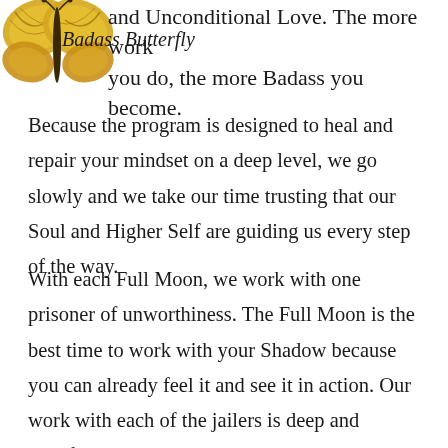[Figure (illustration): Badass Butterfly logo: a yellow and orange butterfly illustration with the cursive text 'Badass Butterfly' overlaid]
and Unconditional Love. The more work you do, the more Badass you become.
Because the program is designed to heal and repair your mindset on a deep level, we go slowly and we take our time trusting that our Soul and Higher Self are guiding us every step of the way.
With each Full Moon, we work with one prisoner of unworthiness. The Full Moon is the best time to work with your Shadow because you can already feel it and see it in action. Our work with each of the jailers is deep and transformational. During the